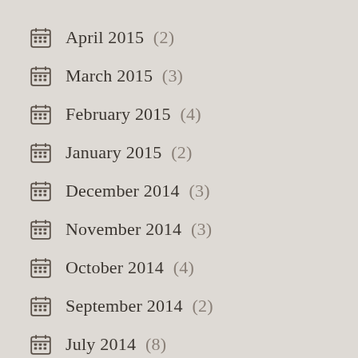April 2015 (2)
March 2015 (3)
February 2015 (4)
January 2015 (2)
December 2014 (3)
November 2014 (3)
October 2014 (4)
September 2014 (2)
July 2014 (8)